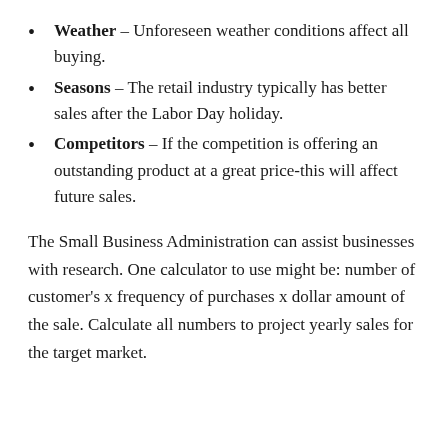Weather – Unforeseen weather conditions affect all buying.
Seasons – The retail industry typically has better sales after the Labor Day holiday.
Competitors – If the competition is offering an outstanding product at a great price-this will affect future sales.
The Small Business Administration can assist businesses with research. One calculator to use might be: number of customer's x frequency of purchases x dollar amount of the sale. Calculate all numbers to project yearly sales for the target market.